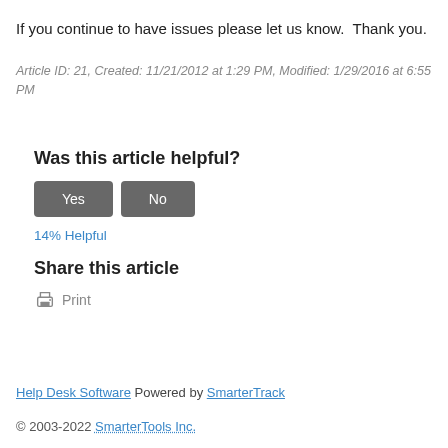If you continue to have issues please let us know.  Thank you.
Article ID: 21, Created: 11/21/2012 at 1:29 PM, Modified: 1/29/2016 at 6:55 PM
Was this article helpful?
Yes   No
14% Helpful
Share this article
Print
Help Desk Software Powered by SmarterTrack
© 2003-2022 SmarterTools Inc.